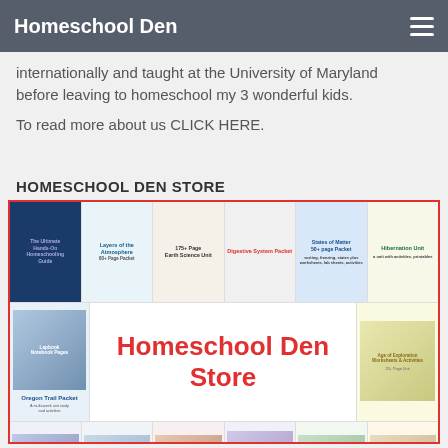Homeschool Den
internationally and taught at the University of Maryland before leaving to homeschool my 3 wonderful kids. To read more about us CLICK HERE.
HOMESCHOOL DEN STORE
[Figure (other): Homeschool Den Store product grid showing various educational packets and units including: The Ultimate Hands-On Homeschooling Guide, Layers of the Atmosphere, 175+ Page Earth Science Unit, Digestive System Packet, States of Matter 50+ Page Packet, Hibernation Unit, Lapbook Notebook Pages, Oregon Trail Packet, center text 'Homeschool Den Store', Age of Exploration Worksheets & Activities, Ancient Greek Gods and Goddesses, Civil Rights Movement Timeline Activities, Civics and Government Packet, Russian Revolution Notebook Pages/History Workbooks, Geographic Features and Landforms, World War I Unit 100+ Pages]